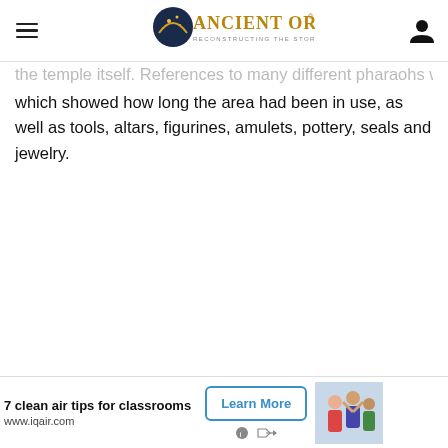Ancient Origins — Reconstructing the story of humanity's past
the temple itself. References to many different pharaohs were found which showed how long the area had been in use, as well as tools, altars, figurines, amulets, pottery, seals and jewelry.
[Figure (other): Advertisement banner: '7 clean air tips for classrooms', www.iqair.com, with Learn More button and image of children]